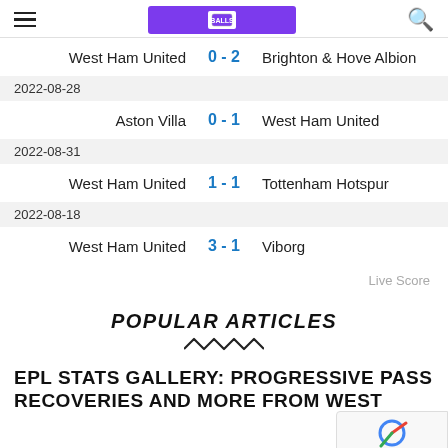Navigation header with hamburger menu, purple logo bar, and search icon
| Date | Home | Score | Away |
| --- | --- | --- | --- |
|  | West Ham United | 0 - 2 | Brighton & Hove Albion |
| 2022-08-28 |  |  |  |
|  | Aston Villa | 0 - 1 | West Ham United |
| 2022-08-31 |  |  |  |
|  | West Ham United | 1 - 1 | Tottenham Hotspur |
| 2022-08-18 |  |  |  |
|  | West Ham United | 3 - 1 | Viborg |
Live Score
POPULAR ARTICLES
EPL STATS GALLERY: PROGRESSIVE PASS RECOVERIES AND MORE FROM WEST